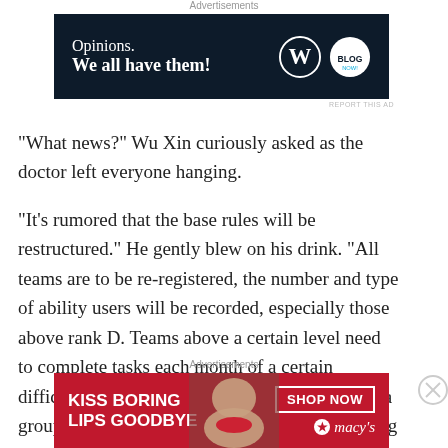[Figure (screenshot): Advertisement banner with dark navy background. Text reads 'Opinions. We all have them!' with WordPress W logo and Blog logo on right.]
“What news?” Wu Xin curiously asked as the doctor left everyone hanging.
“It’s rumored that the base rules will be restructured.” He gently blew on his drink. “All teams are to be re-registered, the number and type of ability users will be recorded, especially those above rank D. Teams above a certain level need to complete tasks each month of a certain difficulty. Plus some city rules will be changed, a group of five people can leave the city, depending on the
[Figure (screenshot): Advertisement banner with red background. Text reads 'KISS BORING LIPS GOODBYE' with SHOP NOW button and Macy's logo. Woman's face visible on right side.]